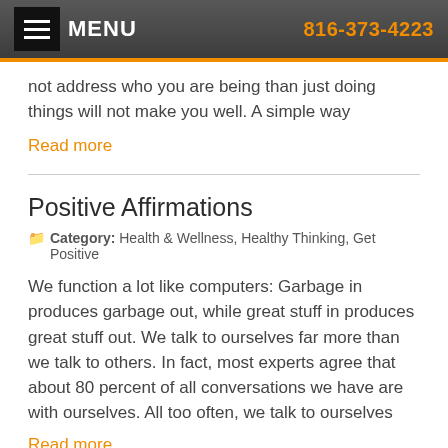MENU   816-373-4223
not address who you are being than just doing things will not make you well. A simple way
Read more
Positive Affirmations
Category: Health & Wellness, Healthy Thinking, Get Positive
We function a lot like computers: Garbage in produces garbage out, while great stuff in produces great stuff out. We talk to ourselves far more than we talk to others. In fact, most experts agree that about 80 percent of all conversations we have are with ourselves. All too often, we talk to ourselves
Read more